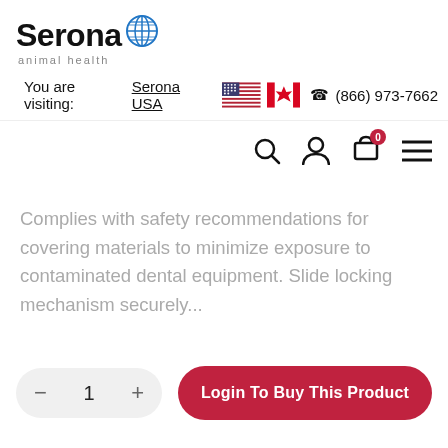[Figure (logo): Serona animal health logo with globe icon]
You are visiting: Serona USA  🇺🇸  🇨🇦  ☎ (866) 973-7662
[Figure (infographic): Navigation icons: search, user profile, shopping cart with 0 badge, hamburger menu]
Complies with safety recommendations for covering materials to minimize exposure to contaminated dental equipment. Slide locking mechanism securely...
1  Login To Buy This Product